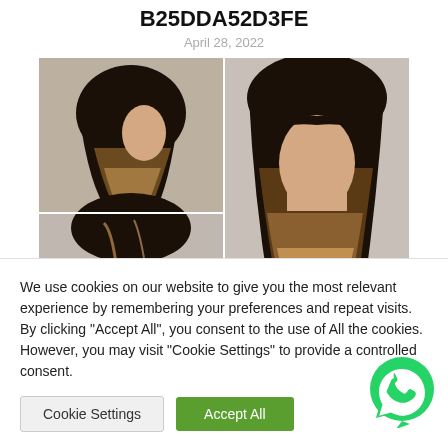B25DDA52D3FE
April 28, 2022
[Figure (photo): Hair salon collage showing a woman with dark brown ombre hair with caramel highlights, shown from multiple angles (side view top-left, front-side view top-right, back/top view bottom-left).]
We use cookies on our website to give you the most relevant experience by remembering your preferences and repeat visits. By clicking “Accept All”, you consent to the use of All the cookies. However, you may visit “Cookie Settings” to provide a controlled consent.